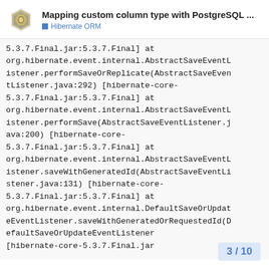Mapping custom column type with PostgreSQL ... | Hibernate ORM
5.3.7.Final.jar:5.3.7.Final] at org.hibernate.event.internal.AbstractSaveEventListener.performSaveOrReplicate(AbstractSaveEventListener.java:292) [hibernate-core-5.3.7.Final.jar:5.3.7.Final] at org.hibernate.event.internal.AbstractSaveEventListener.performSave(AbstractSaveEventListener.java:200) [hibernate-core-5.3.7.Final.jar:5.3.7.Final] at org.hibernate.event.internal.AbstractSaveEventListener.saveWithGeneratedId(AbstractSaveEventListener.java:131) [hibernate-core-5.3.7.Final.jar:5.3.7.Final] at org.hibernate.event.internal.DefaultSaveOrUpdateEventListener.saveWithGeneratedOrRequestedId(DefaultSaveOrUpdateEventListener [hibernate-core-5.3.7.Final.jar
3 / 10